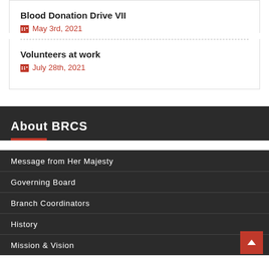Blood Donation Drive VII
May 3rd, 2021
Volunteers at work
July 28th, 2021
About BRCS
Message from Her Majesty
Governing Board
Branch Coordinators
History
Mission & Vision